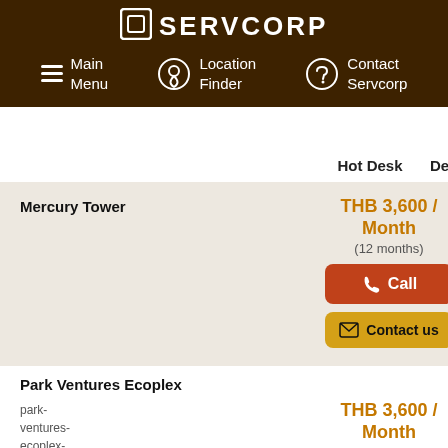SERVCORP
Main Menu | Location Finder | Contact Servcorp
|  | Hot Desk | Dedicated |
| --- | --- | --- |
| Mercury Tower | THB 3,600 / Month (12 months) | THB 5... / Mo... (12 m...) |
| Park Ventures Ecoplex | THB 3,600 / Month (12 months) | THB 5... / Mo... (12 m...) |